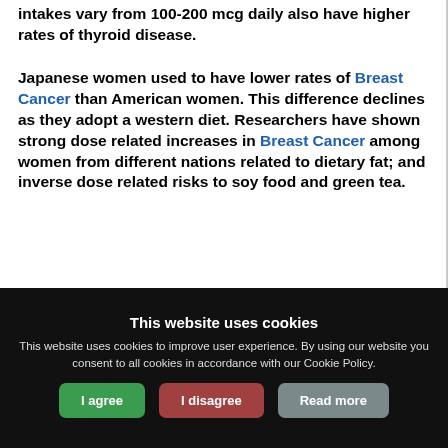intakes vary from 100-200 mcg daily also have higher rates of thyroid disease.
Japanese women used to have lower rates of Breast Cancer than American women. This difference declines as they adopt a western diet. Researchers have shown strong dose related increases in Breast Cancer among women from different nations related to dietary fat; and inverse dose related risks to soy food and green tea.
This website uses cookies
This website uses cookies to improve user experience. By using our website you consent to all cookies in accordance with our Cookie Policy.